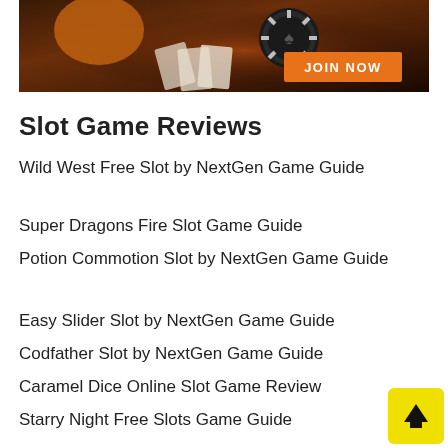[Figure (photo): Casino banner image showing poker chips, playing cards, and a 'JOIN NOW' orange button overlay]
Slot Game Reviews
Wild West Free Slot by NextGen Game Guide
Super Dragons Fire Slot Game Guide
Potion Commotion Slot by NextGen Game Guide
Easy Slider Slot by NextGen Game Guide
Codfather Slot by NextGen Game Guide
Caramel Dice Online Slot Game Review
Starry Night Free Slots Game Guide
Get to Know Merkur Gaming
5 Elements Slots Game Guide